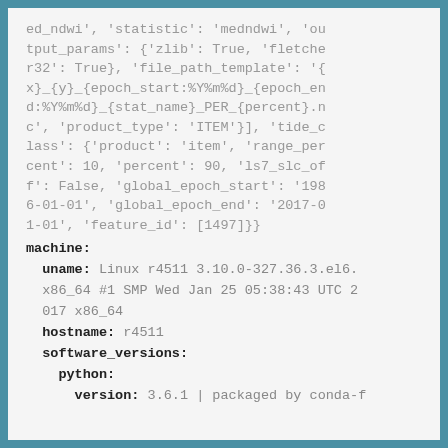ed_ndwi', 'statistic': 'medndwi', 'output_params': {'zlib': True, 'fletcher32': True}, 'file_path_template': '{x}_{y}_{epoch_start:%Y%m%d}_{epoch_end:%Y%m%d}_{stat_name}_PER_{percent}.nc', 'product_type': 'ITEM'}], 'tide_class': {'product': 'item', 'range_percent': 10, 'percent': 90, 'ls7_slc_off': False, 'global_epoch_start': '1986-01-01', 'global_epoch_end': '2017-01-01', 'feature_id': [1497]}
machine:
  uname: Linux r4511 3.10.0-327.36.3.el6.x86_64 #1 SMP Wed Jan 25 05:38:43 UTC 2017 x86_64
  hostname: r4511
  software_versions:
    python:
      version: 3.6.1 | packaged by conda-f